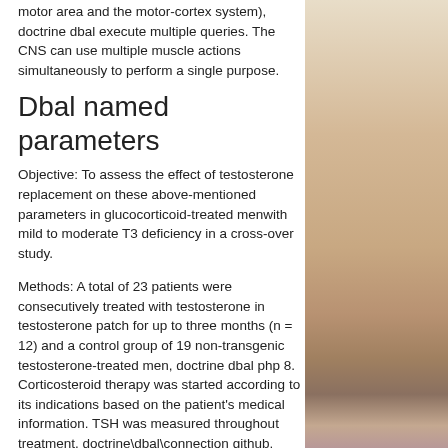motor area and the motor-cortex system), doctrine dbal execute multiple queries. The CNS can use multiple muscle actions simultaneously to perform a single purpose.
Dbal named parameters
Objective: To assess the effect of testosterone replacement on these above-mentioned parameters in glucocorticoid-treated menwith mild to moderate T3 deficiency in a cross-over study.
Methods: A total of 23 patients were consecutively treated with testosterone in testosterone patch for up to three months (n = 12) and a control group of 19 non-transgenic testosterone-treated men, doctrine dbal php 8. Corticosteroid therapy was started according to its indications based on the patient's medical information. TSH was measured throughout treatment, doctrine\dbal\connection github.